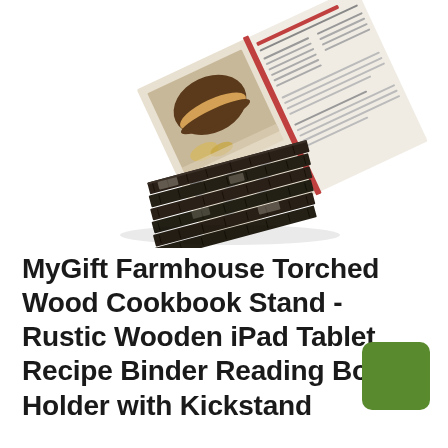[Figure (photo): Product photo of a MyGift Farmhouse Torched Wood Cookbook Stand holding an open cookbook showing a food recipe page with a sandwich image. The stand is made of dark, burnt/torched wood with a kickstand base, displayed at an angle.]
MyGift Farmhouse Torched Wood Cookbook Stand - Rustic Wooden iPad Tablet Recipe Binder Reading Book Holder with Kickstand